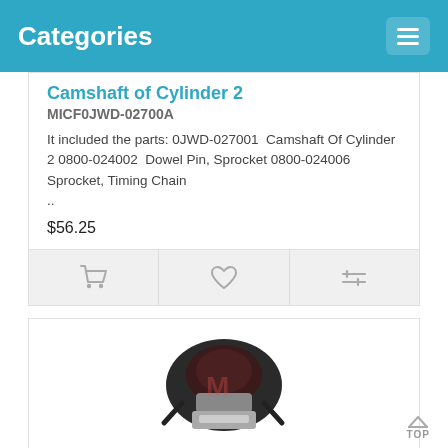Categories
Camshaft of Cylinder 2
MICF0JWD-02700A
It included the parts: 0JWD-027001  Camshaft Of Cylinder 2 0800-024002  Dowel Pin, Sprocket 0800-024006  Sprocket, Timing Chain ..
$56.25
[Figure (infographic): Action bar with cart, heart, and compare icons]
[Figure (photo): Motor Assy Front Gear Case product photo]
Motor Assy, Front Gear Case
MICFQ890-314000-10000
CF Moto listed part number is Q890-314000-10000Hole to Hole: